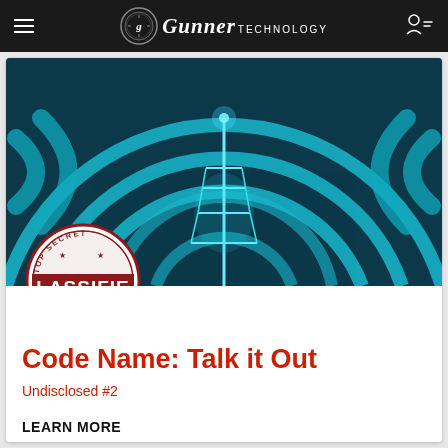Gunner Technology
[Figure (illustration): Hero image: glowing blue radio/WiFi signal waves radiating from a central tower on a dark teal background, with a red 'TOP SECRET CLASSIFIED' circular stamp overlapping the bottom-left corner]
Code Name: Talk it Out
Undisclosed #2
LEARN MORE